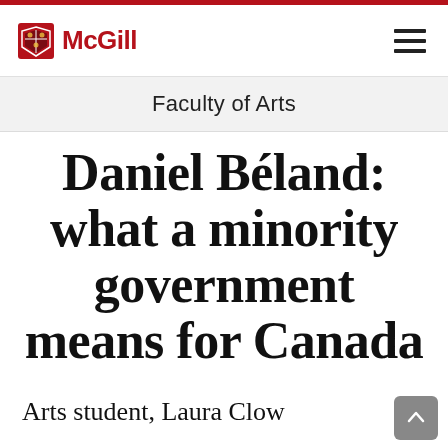McGill
Faculty of Arts
Daniel Béland: what a minority government means for Canada
Arts student, Laura Clow